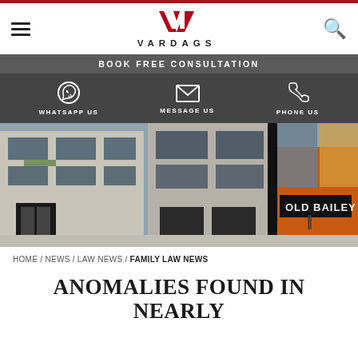VARDAGS
BOOK FREE CONSULTATION
WHATSAPP US  MESSAGE US  PHONE US
[Figure (photo): Street-level photo of a modern glass office building with a sign reading 'OLD BAILEY', featuring reflective glass facades and concrete cladding.]
HOME / NEWS / LAW NEWS / FAMILY LAW NEWS
ANOMALIES FOUND IN NEARLY